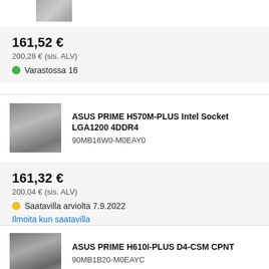[Figure (photo): Partial product image at top of page (motherboard chip)]
161,52 €
200,28 € (sis. ALV)
Varastossa 16
[Figure (photo): ASUS PRIME H570M-PLUS motherboard product photo]
ASUS PRIME H570M-PLUS Intel Socket LGA1200 4DDR4
90MB16W0-M0EAY0
161,32 €
200,04 € (sis. ALV)
Saatavilla arviolta 7.9.2022
Ilmoita kun saatavilla
[Figure (photo): ASUS PRIME H610I-PLUS D4-CSM CPNT motherboard product photo]
ASUS PRIME H610I-PLUS D4-CSM CPNT
90MB1B20-M0EAYC